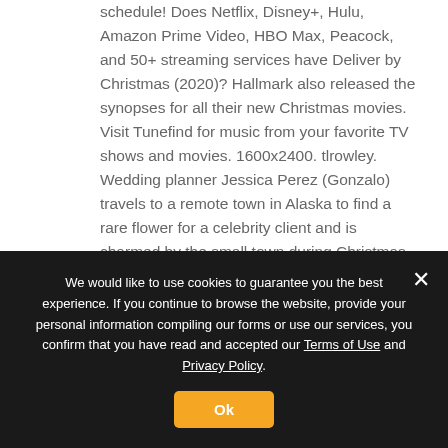schedule! Does Netflix, Disney+, Hulu, Amazon Prime Video, HBO Max, Peacock, and 50+ streaming services have Deliver by Christmas (2020)? Hallmark also released the synopses for all their new Christmas movies. Visit Tunefind for music from your favorite TV shows and movies. 1600x2400. tlrowley. Wedding planner Jessica Perez (Gonzalo) travels to a remote town in Alaska to find a rare flower for a celebrity client and is charmed by the small town during Christmas, as well as the handsome local (Rowe Jr.) helping her. Edit. Terry Ingram. Deliver by Christmas (2020) TMDb Score. Alvina August has the lead role in the Hallmark movie "Deliver by Christmas" opposite Fion Bailey. Scene Quest For Glory, assistant
We would like to use cookies to guarantee you the best experience. If you continue to browse the website, provide your personal information compiling our forms or use our services, you confirm that you have read and accepted our Terms of Use and Privacy Policy.